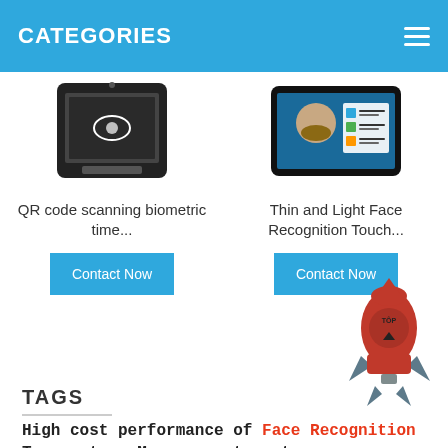CATEGORIES
[Figure (screenshot): QR code scanning biometric device image]
QR code scanning biometric time...
Contact Now
[Figure (screenshot): Thin and Light Face Recognition Touch screen device]
Thin and Light Face Recognition Touch...
Contact Now
[Figure (illustration): Red rocket with TOP label illustration]
TAGS
High cost performance of Face Recognition Temperature Measurement system
Nowadays, the face recognition and temperature measurement integrated machine is undoubtedly the most popular AI product under the normalized prevention and control of the epidemic. So